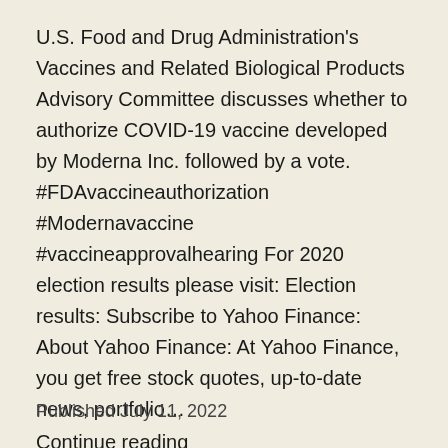U.S. Food and Drug Administration's Vaccines and Related Biological Products Advisory Committee discusses whether to authorize COVID-19 vaccine developed by Moderna Inc. followed by a vote. #FDAvaccineauthorization #Modernavaccine #vaccineapprovalhearing For 2020 election results please visit: Election results: Subscribe to Yahoo Finance: About Yahoo Finance: At Yahoo Finance, you get free stock quotes, up-to-date news, portfolio… Continue reading
Published July 11, 2022